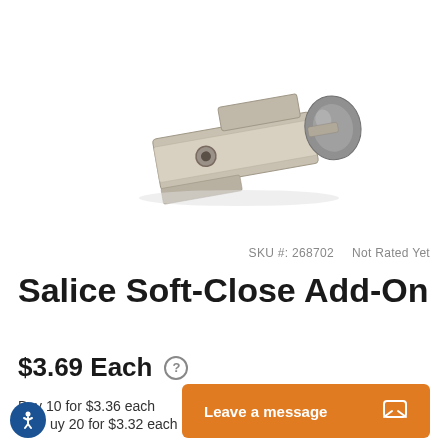[Figure (photo): Product photo of a Salice Soft-Close Add-On hardware piece — a nickel-finish metal bracket with a gray plastic soft-close bumper, shown on white background.]
SKU #: 268702    Not Rated Yet
Salice Soft-Close Add-On
$3.69 Each
Buy 10 for $3.36 each
Buy 20 for $3.32 each
Leave a message